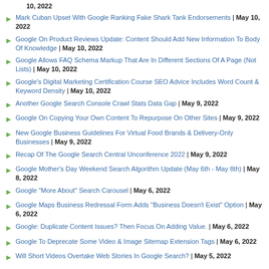10, 2022
Mark Cuban Upset With Google Ranking Fake Shark Tank Endorsements | May 10, 2022
Google On Product Reviews Update: Content Should Add New Information To Body Of Knowledge | May 10, 2022
Google Allows FAQ Schema Markup That Are In Different Sections Of A Page (Not Lists) | May 10, 2022
Google's Digital Marketing Certification Course SEO Advice Includes Word Count & Keyword Density | May 10, 2022
Another Google Search Console Crawl Stats Data Gap | May 9, 2022
Google On Copying Your Own Content To Repurpose On Other Sites | May 9, 2022
New Google Business Guidelines For Virtual Food Brands & Delivery-Only Businesses | May 9, 2022
Recap Of The Google Search Central Unconference 2022 | May 9, 2022
Google Mother's Day Weekend Search Algorithm Update (May 6th - May 8th) | May 8, 2022
Google "More About" Search Carousel | May 6, 2022
Google Maps Business Redressal Form Adds "Business Doesn't Exist" Option | May 6, 2022
Google: Duplicate Content Issues? Then Focus On Adding Value. | May 6, 2022
Google To Deprecate Some Video & Image Sitemap Extension Tags | May 6, 2022
Will Short Videos Overtake Web Stories In Google Search? | May 5, 2022